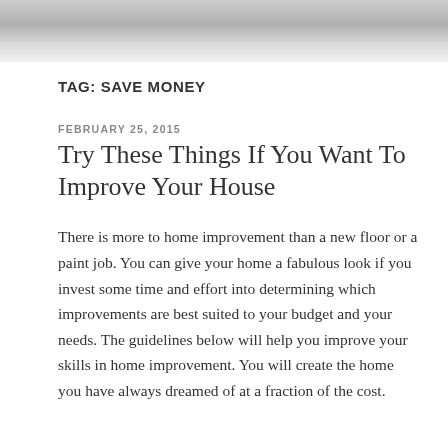TAG: SAVE MONEY
FEBRUARY 25, 2015
Try These Things If You Want To Improve Your House
There is more to home improvement than a new floor or a paint job. You can give your home a fabulous look if you invest some time and effort into determining which improvements are best suited to your budget and your needs. The guidelines below will help you improve your skills in home improvement. You will create the home you have always dreamed of at a fraction of the cost.